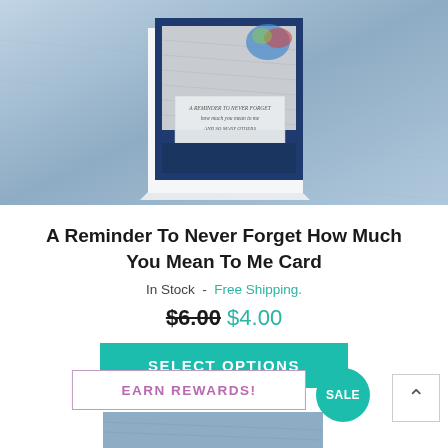[Figure (photo): Product photo of a handmade greeting card with navy blue border and floral design on a blue stone background. Card has a sentiment label reading 'A reminder to never forget how much you mean to me and so many others'.]
A Reminder To Never Forget How Much You Mean To Me Card
In Stock - Free Shipping.
$6.00 $4.00
SELECT OPTIONS
EARN REWARDS!
SALE